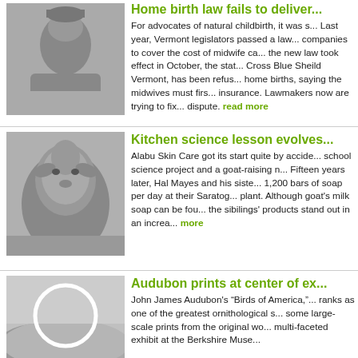[Figure (photo): Black and white photo of a woman with bangs, smiling slightly]
Home birth law fails to deliver...
For advocates of natural childbirth, it was s... Last year, Vermont legislators passed a law... companies to cover the cost of midwife ca... the new law took effect in October, the stat... Cross Blue Sheild Vermont, has been refus... home births, saying the midwives must firs... insurance. Lawmakers now are trying to fix... dispute. read more
[Figure (photo): Black and white photo of a goat facing the camera]
Kitchen science lesson evolves...
Alabu Skin Care got its start quite by accide... school science project and a goat-raising n... Fifteen years later, Hal Mayes and his siste... 1,200 bars of soap per day at their Saratog... plant. Although goat's milk soap can be fou... the sibilings' products stand out in an increa... more
[Figure (photo): Black and white landscape photo with hills and a circular frame element]
Audubon prints at center of ex...
John James Audubon's "Birds of America,"... ranks as one of the greatest ornithological s... some large-scale prints from the original wo... multi-faceted exhibit at the Berkshire Muse...